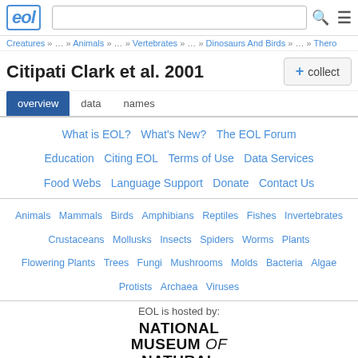EOL — Encyclopedia of Life header with search bar and menu icon
Creatures » … » Animals » … » Vertebrates » … » Dinosaurs And Birds » … » Thero
Citipati Clark et al. 2001
+ collect
overview  data  names
What is EOL?  What's New?  The EOL Forum  Education  Citing EOL  Terms of Use  Data Services  Food Webs  Language Support  Donate  Contact Us
Animals  Mammals  Birds  Amphibians  Reptiles  Fishes  Invertebrates  Crustaceans  Mollusks  Insects  Spiders  Worms  Plants  Flowering Plants  Trees  Fungi  Mushrooms  Molds  Bacteria  Algae  Protists  Archaea  Viruses
EOL is hosted by:
[Figure (logo): National Museum of Natural History logo with bold uppercase text and 'of' in italic. Below: Smithsonian logo.]